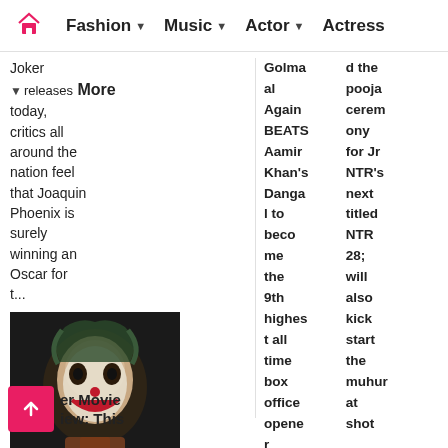Fashion | Music | Actor | Actress
Joker releases today, critics all around the nation feel that Joaquin Phoenix is surely winning an Oscar for t...
More
[Figure (photo): Close-up of Joaquin Phoenix as Joker with clown makeup]
Joker Movie Review: This
Golmal Again BEATS Aamir Khan's Dangal to become the 9th highest all time box office opener
d the pooja ceremony for Jr NTR's next titled NTR 28; will also kick start the muhur shot at